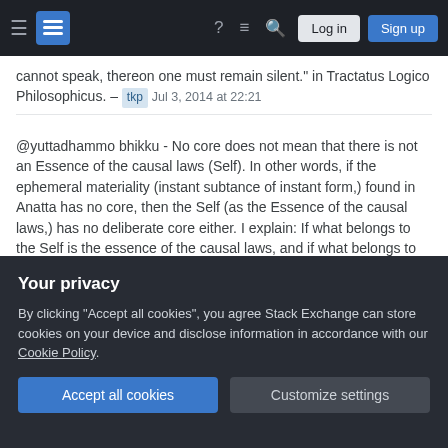Stack Exchange navigation bar with Log in and Sign up buttons
cannot speak, thereon one must remain silent." in Tractatus Logico Philosophicus. – tkp Jul 3, 2014 at 22:21
@yuttadhammo bhikku - No core does not mean that there is not an Essence of the causal laws (Self). In other words, if the ephemeral materiality (instant subtance of instant form,) found in Anatta has no core, then the Self (as the Essence of the causal laws,) has no deliberate core either. I explain: If what belongs to the Self is the essence of the causal laws, and if what belongs to Anatta is impermanent and useless (no core;) then the Self must be useless (no core,) also. Buddha does not seem to rule out the Self, but just to
Your privacy
By clicking "Accept all cookies", you agree Stack Exchange can store cookies on your device and disclose information in accordance with our Cookie Policy.
Accept all cookies
Customize settings
(such as belonging to the Self and Not-Self).
user635  Aug 17, 2014 at 14:57